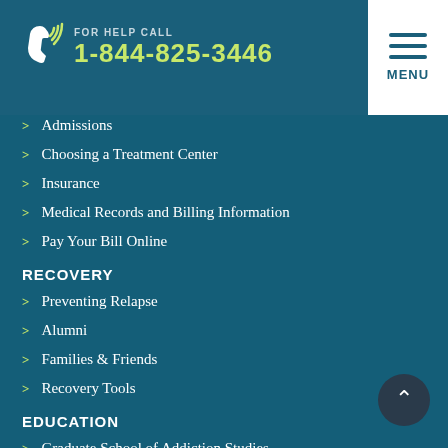FOR HELP CALL 1-844-825-3446
Admissions
Choosing a Treatment Center
Insurance
Medical Records and Billing Information
Pay Your Bill Online
RECOVERY
Preventing Relapse
Alumni
Families & Friends
Recovery Tools
EDUCATION
Graduate School of Addiction Studies
Butler Center For Research
Medical and Professional Education
PROFESSIONALS
How to Refer a Patient
Patient Care Network
ABOUT US